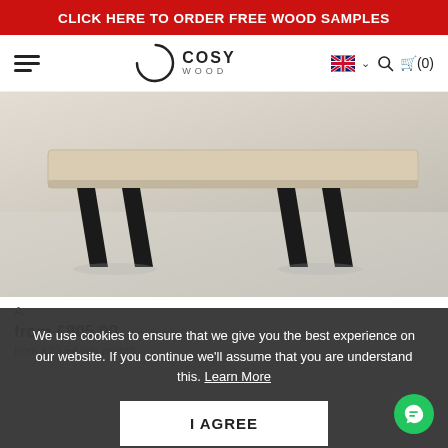CLICK HERE TO ORDER FREE WOOD SAMPLES
[Figure (logo): Cosy Wood logo with circular arc mark and COSY WOOD text]
[Figure (photo): Wooden dining table with light natural wood top and angled black metal A-frame legs, on a light grey floor]
We use cookies to ensure that we give you the best experience on our website. If you continue we'll assume that you are understand this. Learn More
I AGREE
from £805.00  £831.00
from £33.54 per month